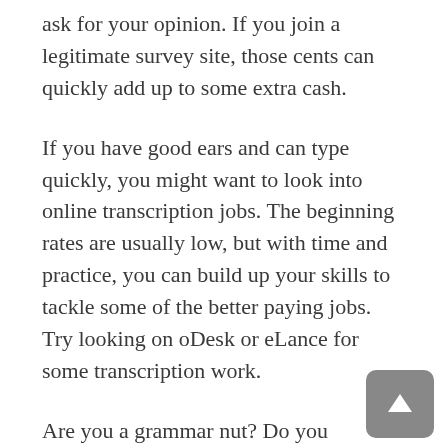ask for your opinion. If you join a legitimate survey site, those cents can quickly add up to some extra cash.
If you have good ears and can type quickly, you might want to look into online transcription jobs. The beginning rates are usually low, but with time and practice, you can build up your skills to tackle some of the better paying jobs. Try looking on oDesk or eLance for some transcription work.
Are you a grammar nut? Do you understand the nuances of the English language? Consider working as a copy editor. You can get paid to